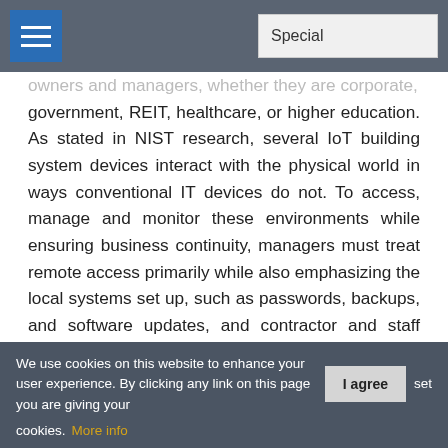Special
owners and managers, whether they are corporate, government, REIT, healthcare, or higher education. As stated in NIST research, several IoT building system devices interact with the physical world in ways conventional IT devices do not. To access, manage and monitor these environments while ensuring business continuity, managers must treat remote access primarily while also emphasizing the local systems set up, such as passwords, backups, and software updates, and contractor and staff policy compliance to tackle phishing and ransomware threats. Tempered's Zero Trust approach offers a proven way to address the unique, remote, access requirements while enabling
We use cookies on this website to enhance your user experience. By clicking any link on this page you are giving your [I agree] set cookies. More info